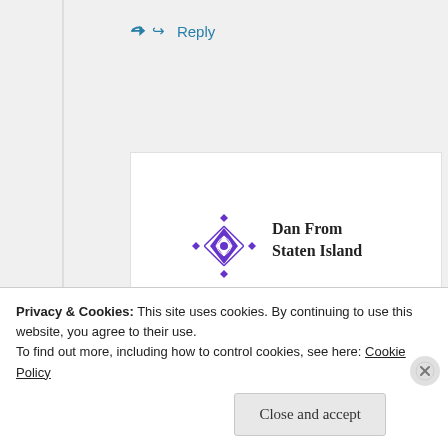↪ Reply
[Figure (illustration): Purple decorative avatar icon with diamond/snowflake pattern]
Dan From Staten Island
June 25, 2015 at 3:25 pm
Not to belabor a point,
but think that the St...
Privacy & Cookies: This site uses cookies. By continuing to use this website, you agree to their use.
To find out more, including how to control cookies, see here: Cookie Policy
Close and accept